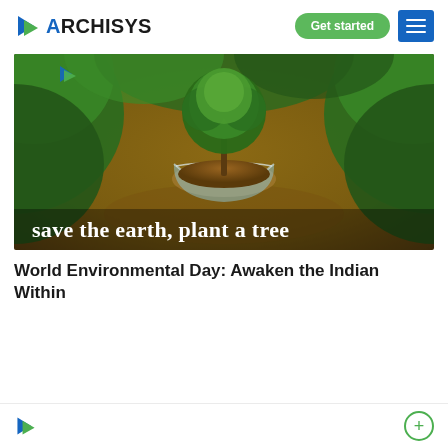ARCHISYS — Get started — Menu
[Figure (photo): Environmental photo showing a tree growing inside a glass globe with soil, surrounded by lush green foliage. Text overlaid reads: save the earth, plant a tree]
World Environmental Day: Awaken the Indian Within
ARCHISYS logo footer with plus button